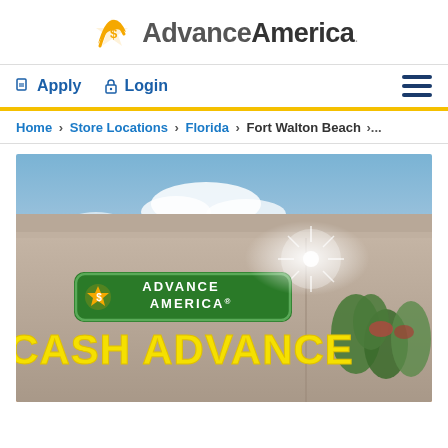Advance America
Apply  Login
Home > Store Locations > Florida > Fort Walton Beach >...
[Figure (photo): Advance America Cash Advance store exterior sign at dusk with illuminated green sign reading 'ADVANCE AMERICA' and yellow text 'CASH ADVANCE' below it, trees and sky in background]